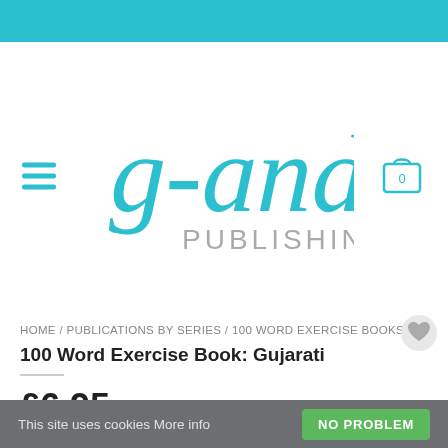[Figure (logo): g-and-w Publishing logo in blue script with PUBLISHING in grey sans-serif]
HOME / PUBLICATIONS BY SERIES / 100 WORD EXERCISE BOOKS
100 Word Exercise Book: Gujarati
£6.95
This site uses cookies More info NO PROBLEM